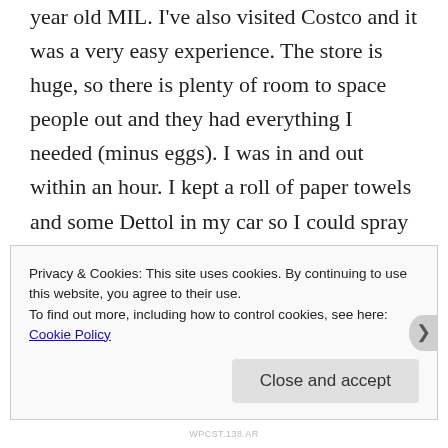year old MIL. I've also visited Costco and it was a very easy experience. The store is huge, so there is plenty of room to space people out and they had everything I needed (minus eggs). I was in and out within an hour. I kept a roll of paper towels and some Dettol in my car so I could spray down the packages before I put them in my car. Once I got home, we created clean/dirty spaces and cleaned everything again. Fruits and veg get
Privacy & Cookies: This site uses cookies. By continuing to use this website, you agree to their use.
To find out more, including how to control cookies, see here:
Cookie Policy
Close and accept
WPCST.138.AR